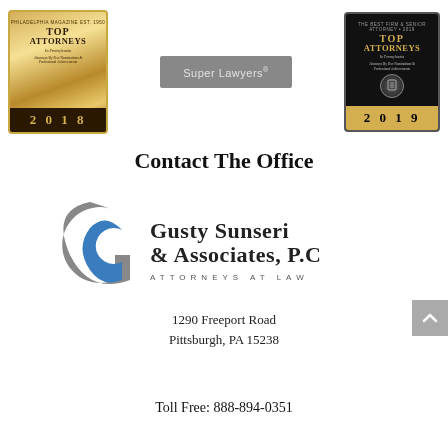[Figure (logo): Top Attorneys in Pennsylvania 2018 award badge — gold/bronze colored]
[Figure (logo): Super Lawyers gray badge/logo]
[Figure (logo): Top Attorneys in Pennsylvania 2019 award badge — black and gold colored]
Contact The Office
[Figure (logo): Gusty Sunseri & Associates, P.C. Attorneys at Law logo with stylized G letterform]
1290 Freeport Road
Pittsburgh, PA 15238
Toll Free: 888-894-0351